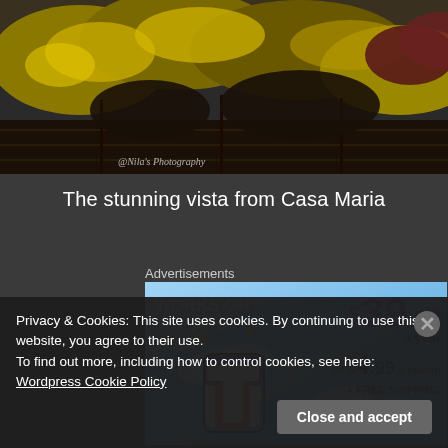[Figure (photo): Vineyard/winery outdoor photo with autumn foliage and grapevines, dark moody sky. Watermark text '@Nila's Photography' in lower left corner.]
The stunning vista from Casa Maria
Advertisements
[Figure (infographic): Advertisement banner for Tumblr subscription: 'WORKS ON THE APP TOO!' on left, large Tumblr 't' logo in center, price '$39.99 a year or $4.99 a month + FREE SHIPPING' on right, blue sky background with yellow sparkle stars.]
Privacy & Cookies: This site uses cookies. By continuing to use this website, you agree to their use.
To find out more, including how to control cookies, see here: Wordpress Cookie Policy
Close and accept